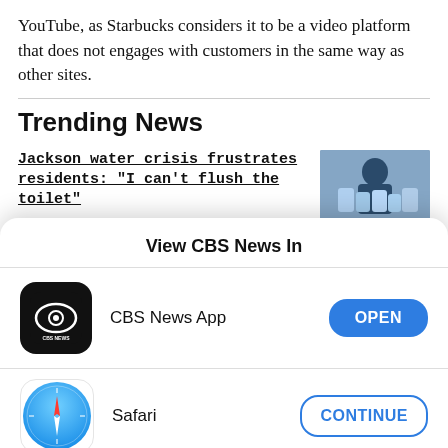YouTube, as Starbucks considers it to be a video platform that does not engages with customers in the same way as other sites.
Trending News
Jackson water crisis frustrates residents: "I can't flush the toilet"
Ex-NYPD officer faces Capitol riot sentencing
View CBS News In
CBS News App
Safari